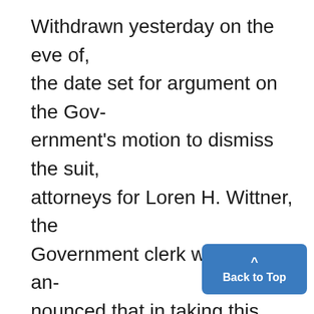Withdrawn yesterday on the eve of, the date set for argument on the Government's motion to dismiss the suit, attorneys for Loren H. Wittner, the Government clerk who filed it, announced that in taking this action,; they planned to file another suit designed to survive objections raised against the complaint as first drawn.' To strengthen his case, Wittner said he not only would file his next suit. as a taxpafer in the District of Columbia instead of a Federal taxp but also would seek to have a local